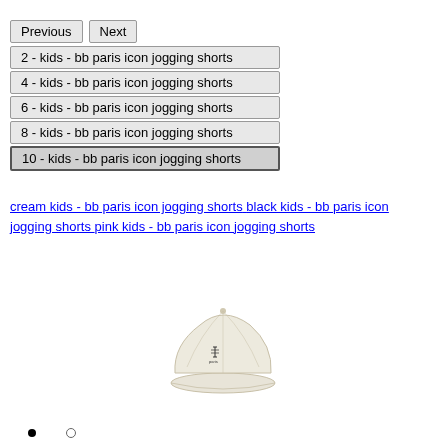2 - kids - bb paris icon jogging shorts
4 - kids - bb paris icon jogging shorts
6 - kids - bb paris icon jogging shorts
8 - kids - bb paris icon jogging shorts
10 - kids - bb paris icon jogging shorts
cream kids - bb paris icon jogging shorts black kids - bb paris icon jogging shorts pink kids - bb paris icon jogging shorts
[Figure (photo): A cream/off-white baseball cap with a small logo on the front, viewed from the front-side angle.]